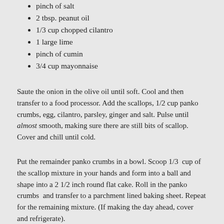pinch of salt
2 tbsp. peanut oil
1/3 cup chopped cilantro
1 large lime
pinch of cumin
3/4 cup mayonnaise
Saute the onion in the olive oil until soft. Cool and then transfer to a food processor. Add the scallops, 1/2 cup panko crumbs, egg, cilantro, parsley, ginger and salt. Pulse until almost smooth, making sure there are still bits of scallop. Cover and chill until cold.
Put the remainder panko crumbs in a bowl. Scoop 1/3 cup of the scallop mixture in your hands and form into a ball and shape into a 2 1/2 inch round flat cake. Roll in the panko crumbs and transfer to a parchment lined baking sheet. Repeat for the remaining mixture. (If making the day ahead, cover and refrigerate).
Preheat oven to 450 degrees. Heat peanut oil in a large skillet. Add two cakes at a time and cook until golden on both sides. Remove to the baking sheet. Repeat until all the cakes are done. Bake for about